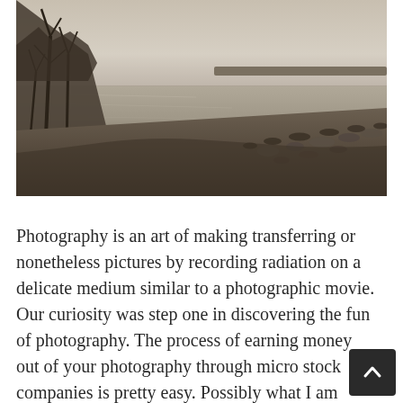[Figure (photo): Sepia-toned black and white landscape photograph of a river or lake shoreline. Bare trees on the left, a wide calm body of water stretching to the horizon, and a rocky gravel bank in the foreground.]
Photography is an art of making transferring or nonetheless pictures by recording radiation on a delicate medium similar to a photographic movie. Our curiosity was step one in discovering the fun of photography. The process of earning money out of your photography through micro stock companies is pretty easy. Possibly what I am really saying